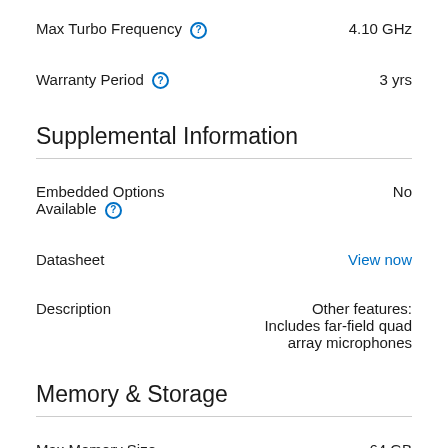Max Turbo Frequency  4.10 GHz
Warranty Period  3 yrs
Supplemental Information
Embedded Options Available  No
Datasheet  View now
Description  Other features: Includes far-field quad array microphones
Memory & Storage
Max Memory Size (dependent on memory  64 GB